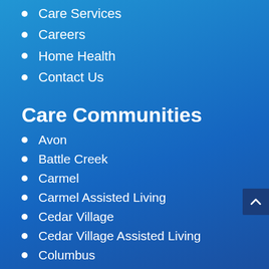Care Services
Careers
Home Health
Contact Us
Care Communities
Avon
Battle Creek
Carmel
Carmel Assisted Living
Cedar Village
Cedar Village Assisted Living
Columbus
Connersville
Deming Park